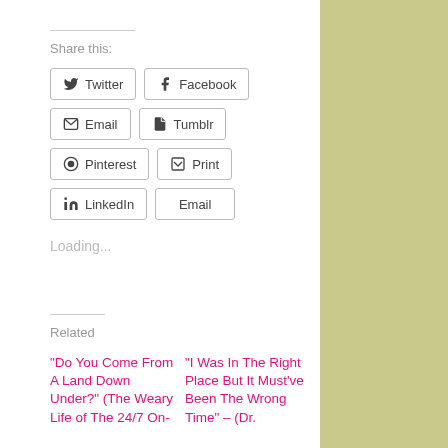Share this:
Twitter
Facebook
Email
Tumblr
Pinterest
Print
LinkedIn
Email
Loading...
Related
“Do You Come From A Land Down Under?” (The Weary Life of The 24/7 On-
“I Was In The Right Place But It Must’ve Been The Wrong Time” – (Dr.